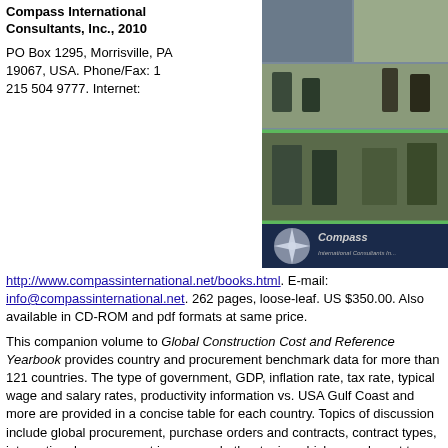Compass International Consultants, Inc., 2010
PO Box 1295, Morrisville, PA 19067, USA. Phone/Fax: 1 215 504 9777. Internet:
[Figure (photo): Collage of construction and engineering photos showing workers, industrial facilities, and the Compass International Consultants logo]
http://www.compassinternational.net/books.html. E-mail: info@compassinternational.net. 262 pages, loose-leaf. US $350.00. Also available in CD-ROM and pdf formats at same price.
This companion volume to Global Construction Cost and Reference Yearbook provides country and procurement benchmark data for more than 121 countries. The type of government, GDP, inflation rate, tax rate, typical wage and salary rates, productivity information vs. USA Gulf Coast and more are provided in a concise table for each country. Topics of discussion include global procurement, purchase orders and contracts, contract types, international procurement issues, and other topics which are relevant to international procurement. Sam